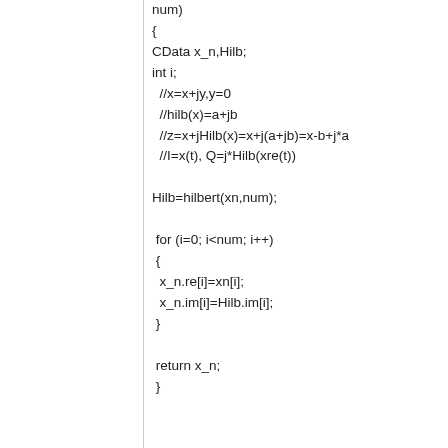num)
{
CData x_n,Hilb;
int i;
  //x=x+jy,y=0
  //hilb(x)=a+jb
  //z=x+jHilb(x)=x+j(a+jb)=x-b+j*a
  //I=x(t), Q=j*Hilb(xre(t))

Hilb=hilbert(xn,num);

 for (i=0; i<num; i++)
 {
  x_n.re[i]=xn[i];
  x_n.im[i]=Hilb.im[i];
 }

 return x_n;
 }



double Arg(double re, double im)
{

return atan2 (im,re)  ;
}
CData get_mod_fi(CData x, int n, int